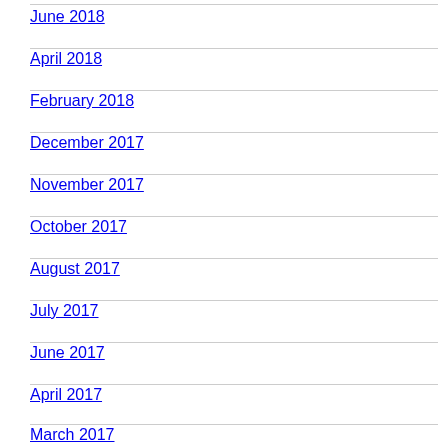June 2018
April 2018
February 2018
December 2017
November 2017
October 2017
August 2017
July 2017
June 2017
April 2017
March 2017